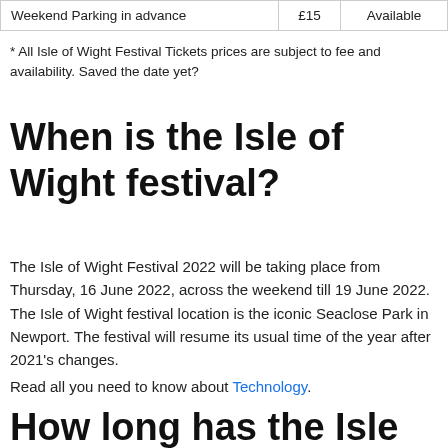|  |  |  |
| --- | --- | --- |
| Weekend Parking in advance | £15 | Available |
* All Isle of Wight Festival Tickets prices are subject to fee and availability. Saved the date yet?
When is the Isle of Wight festival?
The Isle of Wight Festival 2022 will be taking place from Thursday, 16 June 2022, across the weekend till 19 June 2022. The Isle of Wight festival location is the iconic Seaclose Park in Newport. The festival will resume its usual time of the year after 2021's changes.
Read all you need to know about Technology.
How long has the Isle of Wight